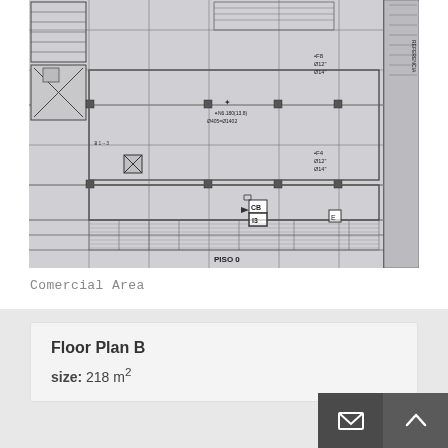[Figure (engineering-diagram): Architectural/structural floor plan blueprint drawing showing room layouts, grid lines, structural columns, annotations with rebar specifications (Ø12, Ø14), section markers, stairs, and a label reading PISO 0 at the bottom. Various technical annotations including CB, I3 labels visible.]
Comercial Area
Floor Plan B
size: 218 m²